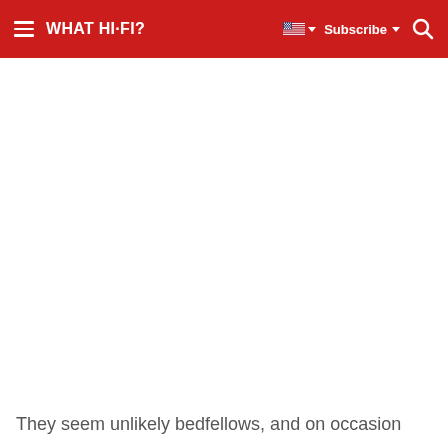WHAT HI-FI? | Subscribe
They seem unlikely bedfellows, and on occasion